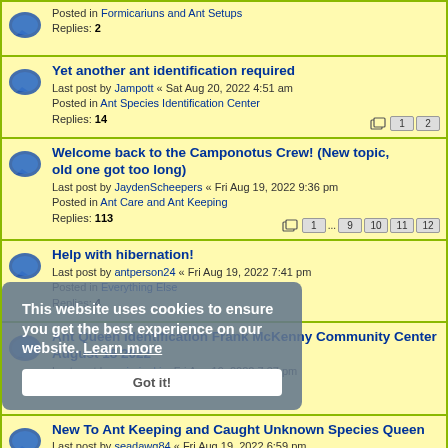Posted in Formicariuns and Ant Setups
Replies: 2
Yet another ant identification required
Last post by Jampott « Sat Aug 20, 2022 4:51 am
Posted in Ant Species Identification Center
Replies: 14
Welcome back to the Camponotus Crew! (New topic, old one got too long)
Last post by JaydenScheepers « Fri Aug 19, 2022 9:36 pm
Posted in Ant Care and Ant Keeping
Replies: 113
Help with hibernation!
Last post by antperson24 « Fri Aug 19, 2022 7:41 pm
Posted in Everything Else
Replies: 4
Ant Queen Identification Frank McKenny Community Center August 18 2022
Last post by oniraigeki « Fri Aug 19, 2022 7:37 pm
Posted in Ant Species Identification Center
Replies: 2
New To Ant Keeping and Caught Unknown Species Queen
Last post by seadawg84 « Fri Aug 19, 2022 6:59 pm
Posted in Ant Keeping for Beginners
Replies: 14
What species?
Last post by antperson24 « Fri Aug 19, 2022 3:58 pm
This website uses cookies to ensure you get the best experience on our website. Learn more
Got it!